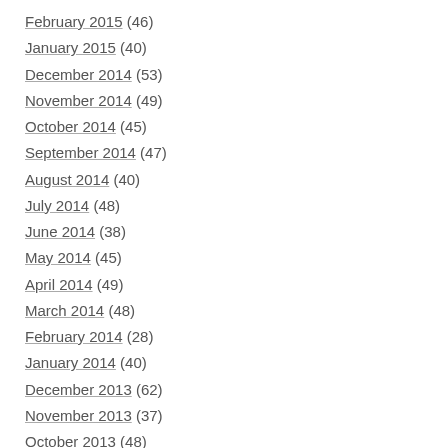February 2015 (46)
January 2015 (40)
December 2014 (53)
November 2014 (49)
October 2014 (45)
September 2014 (47)
August 2014 (40)
July 2014 (48)
June 2014 (38)
May 2014 (45)
April 2014 (49)
March 2014 (48)
February 2014 (28)
January 2014 (40)
December 2013 (62)
November 2013 (37)
October 2013 (48)
September 2013 (39)
August 2013 (40)